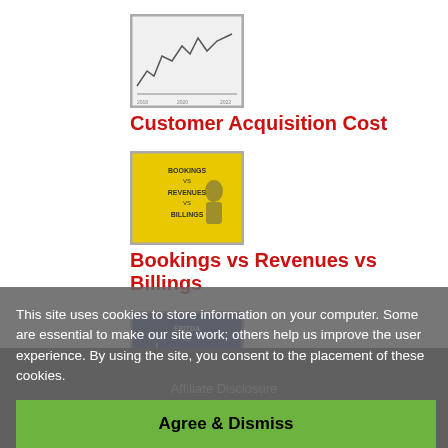[Figure (other): Thumbnail image of a line chart for Customer Acquisition Cost]
Customer Acquisition Cost
[Figure (other): Thumbnail image showing Bookings vs Revenues vs Billings comparison graphic with yellow background]
Bookings vs Revenues vs Billings
[Figure (other): Thumbnail image showing EBITDA vs Gross Margin vs Net Profit graphic with blue background]
EBITDA vs Gross Margin vs Net Profit
This site uses cookies to store information on your computer. Some are essential to make our site work; others help us improve the user experience. By using the site, you consent to the placement of these cookies.
Affiliate Disclosure
© 2022 SaaS Metrics